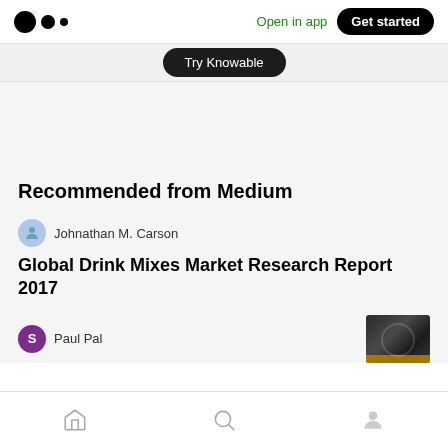Medium logo | Open in app | Get started
Try Knowable
Recommended from Medium
Johnathan M. Carson
Global Drink Mixes Market Research Report 2017
Paul Pal
[Figure (photo): Thumbnail image with dark background and gold bar element]
Home | Search | Profile navigation icons